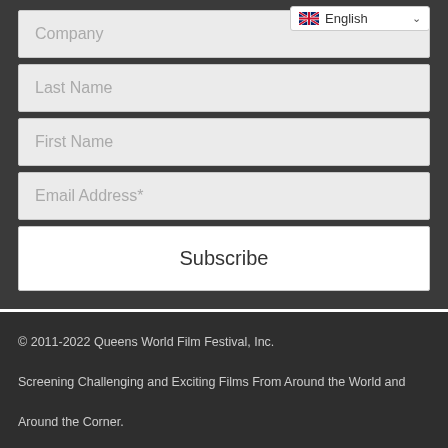Company
Last Name
First Name
Email Address*
Subscribe
© 2011-2022 Queens World Film Festival, Inc.

Screening Challenging and Exciting Films From Around the World and Around the Corner.